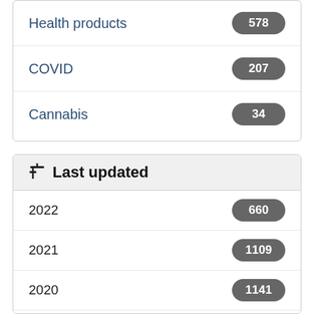Health products 578
COVID 207
Cannabis 34
Last updated
2022 660
2021 1109
2020 1141
2019 1403